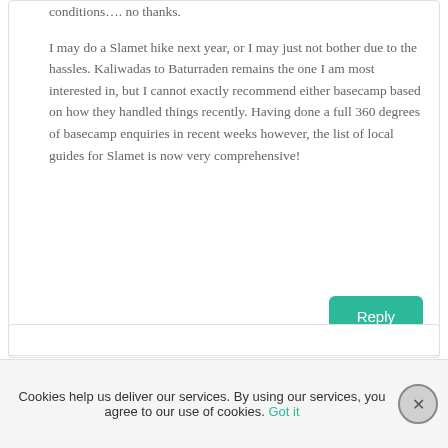conditions…. no thanks.

I may do a Slamet hike next year, or I may just not bother due to the hassles. Kaliwadas to Baturraden remains the one I am most interested in, but I cannot exactly recommend either basecamp based on how they handled things recently. Having done a full 360 degrees of basecamp enquiries in recent weeks however, the list of local guides for Slamet is now very comprehensive!
Reply
Cookies help us deliver our services. By using our services, you agree to our use of cookies. Got it